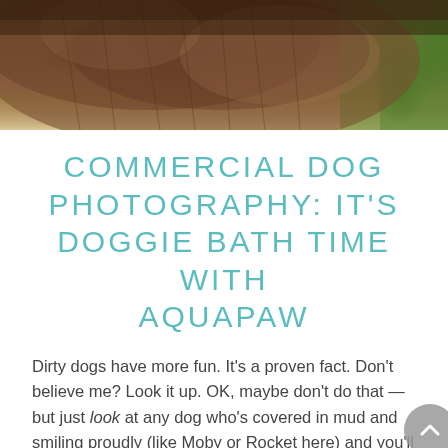[Figure (photo): Close-up photo of a fluffy brown dog against a green grass background, cropped to show mostly the dog's fur/back area]
COMMERCIAL DOG PHOTOGRAPHY: IT'S DOGGIE BATH TIME WITH AQUAPAW
Dirty dogs have more fun. It's a proven fact. Don't believe me? Look it up. OK, maybe don't do that — but just look at any dog who's covered in mud and smiling proudly (like Moby or Rocket here) and you'll know it's true.